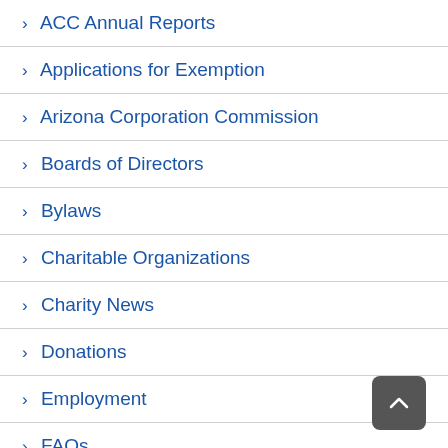> ACC Annual Reports
> Applications for Exemption
> Arizona Corporation Commission
> Boards of Directors
> Bylaws
> Charitable Organizations
> Charity News
> Donations
> Employment
> FAQs